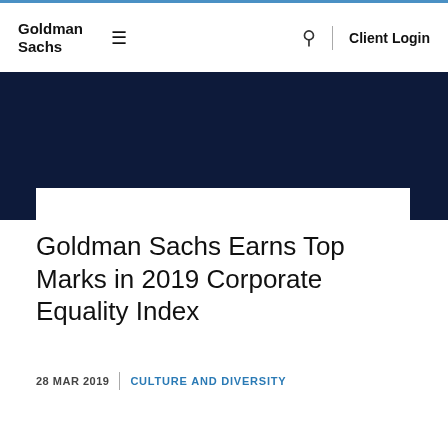Goldman Sachs | ≡ | 🔍 | Client Login
Goldman Sachs Earns Top Marks in 2019 Corporate Equality Index
28 MAR 2019 | CULTURE AND DIVERSITY